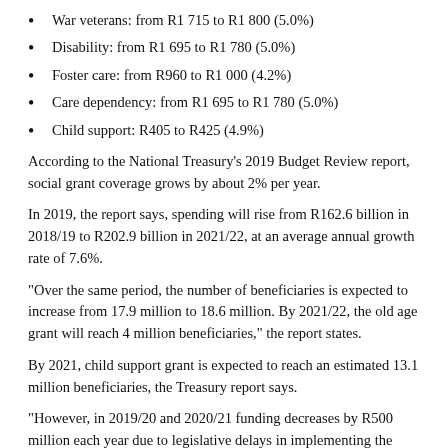War veterans: from R1 715 to R1 800 (5.0%)
Disability: from R1 695 to R1 780 (5.0%)
Foster care: from R960 to R1 000 (4.2%)
Care dependency: from R1 695 to R1 780 (5.0%)
Child support: R405 to R425 (4.9%)
According to the National Treasury's 2019 Budget Review report, social grant coverage grows by about 2% per year.
In 2019, the report says, spending will rise from R162.6 billion in 2018/19 to R202.9 billion in 2021/22, at an average annual growth rate of 7.6%.
“Over the same period, the number of beneficiaries is expected to increase from 17.9 million to 18.6 million. By 2021/22, the old age grant will reach 4 million beneficiaries,” the report states.
By 2021, child support grant is expected to reach an estimated 13.1 million beneficiaries, the Treasury report says.
“However, in 2019/20 and 2020/21 funding decreases by R500 million each year due to legislative delays in implementing the